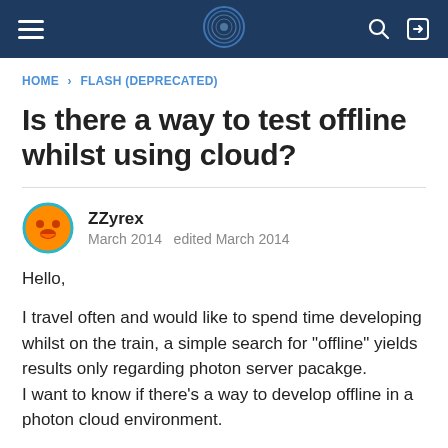Navigation bar with hamburger menu, logo, search and login icons
HOME › FLASH (DEPRECATED)
Is there a way to test offline whilst using cloud?
ZZyrex
March 2014   edited March 2014
Hello,

I travel often and would like to spend time developing whilst on the train, a simple search for "offline" yields results only regarding photon server pacakge.
I want to know if there's a way to develop offline in a photon cloud environment.